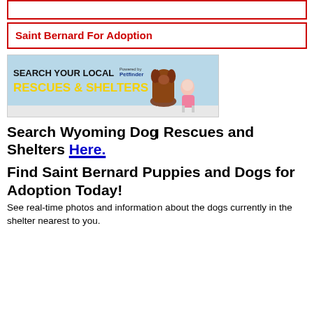Saint Bernard For Adoption
[Figure (illustration): Banner advertisement: Search Your Local Rescues & Shelters, Powered by Petfinder, with a brown dog and baby sitting together on a blue background]
Search Wyoming Dog Rescues and Shelters Here.
Find Saint Bernard Puppies and Dogs for Adoption Today!
See real-time photos and information about the dogs currently in the shelter nearest to you.